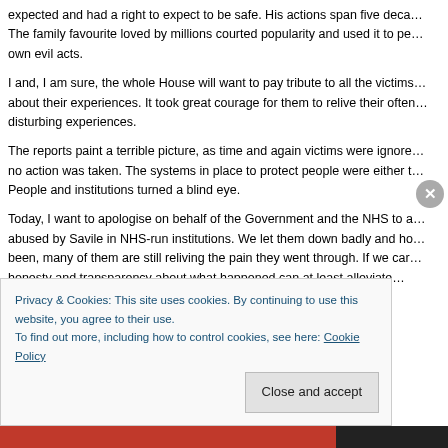expected and had a right to expect to be safe. His actions span five deca... The family favourite loved by millions courted popularity and used it to pe... own evil acts.
I and, I am sure, the whole House will want to pay tribute to all the victims... about their experiences. It took great courage for them to relive their often... disturbing experiences.
The reports paint a terrible picture, as time and again victims were ignore... no action was taken. The systems in place to protect people were either t... People and institutions turned a blind eye.
Today, I want to apologise on behalf of the Government and the NHS to a... abused by Savile in NHS-run institutions. We let them down badly and ho... been, many of them are still reliving the pain they went through. If we car... honesty and transparency about what happened can at least alleviate...
Privacy & Cookies: This site uses cookies. By continuing to use this website, you agree to their use.
To find out more, including how to control cookies, see here: Cookie Policy
Close and accept